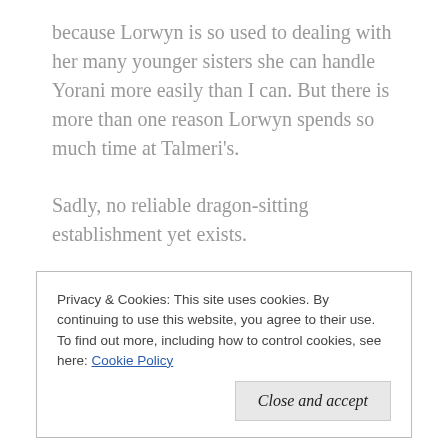because Lorwyn is so used to dealing with her many younger sisters she can handle Yorani more easily than I can. But there is more than one reason Lorwyn spends so much time at Talmeri's.
Sadly, no reliable dragon-sitting establishment yet exists.
“What’s she done?” I ask wearily.
Privacy & Cookies: This site uses cookies. By continuing to use this website, you agree to their use. To find out more, including how to control cookies, see here: Cookie Policy
Close and accept